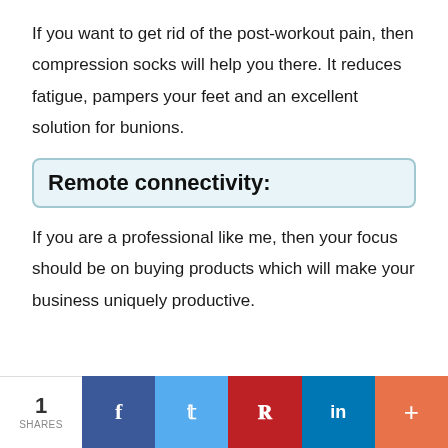If you want to get rid of the post-workout pain, then compression socks will help you there. It reduces fatigue, pampers your feet and an excellent solution for bunions.
Remote connectivity:
If you are a professional like me, then your focus should be on buying products which will make your business uniquely productive.
1 SHARES | Facebook | Twitter | Pinterest | LinkedIn | More